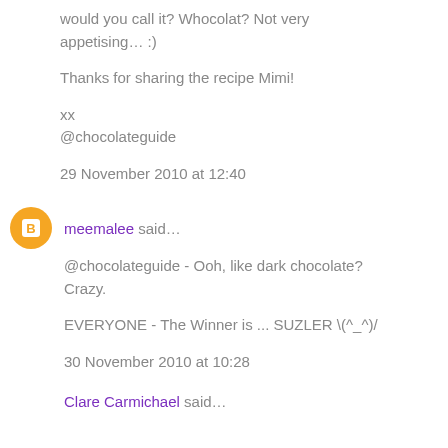would you call it? Whocolat? Not very appetising… :)
Thanks for sharing the recipe Mimi!
xx
@chocolateguide
29 November 2010 at 12:40
meemalee said…
@chocolateguide - Ooh, like dark chocolate? Crazy.
EVERYONE - The Winner is ... SUZLER \(^_^)/
30 November 2010 at 10:28
Clare Carmichael said…